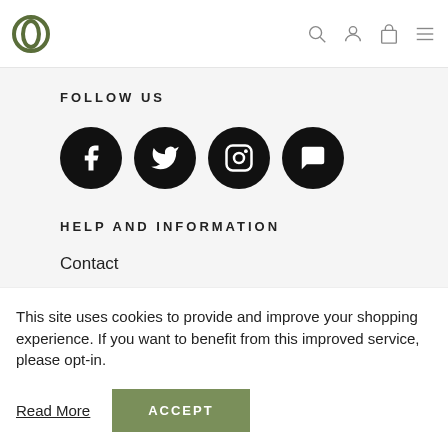Logo and navigation icons (search, account, bag, menu)
FOLLOW US
[Figure (infographic): Four social media icon buttons in black circles: Facebook, Twitter, Instagram, and a chat/message app icon]
HELP AND INFORMATION
Contact
FAQ's
This site uses cookies to provide and improve your shopping experience. If you want to benefit from this improved service, please opt-in.
Read More   ACCEPT